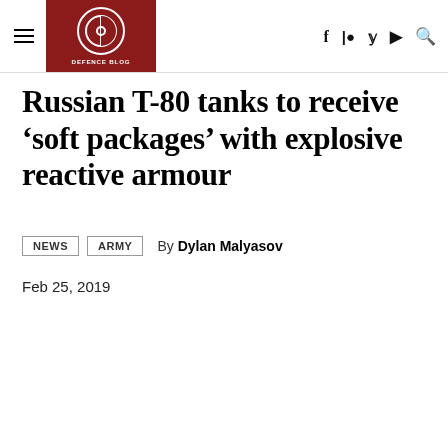DEFENCE BLOG — Navigation and social icons header
Russian T-80 tanks to receive ‘soft packages’ with explosive reactive armour
NEWS  ARMY  By Dylan Malyasov
Feb 25, 2019